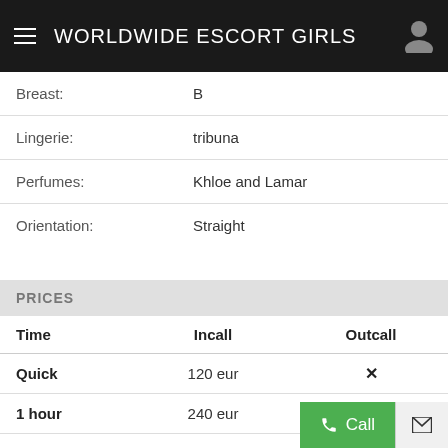WORLDWIDE ESCORT GIRLS
| Breast: | B |
| Lingerie: | tribuna |
| Perfumes: | Khloe and Lamar |
| Orientation: | Straight |
PRICES
| Time | Incall | Outcall |
| --- | --- | --- |
| Quick | 120 eur | ✕ |
| 1 hour | 240 eur | ✕ |
| Plus hour | ✕ | 160 eur + Outcall Travel Fee (Taxi) |
| 12 hours | ✕ | ✕ |
| 24 hours | 1400 eur | ✕ |